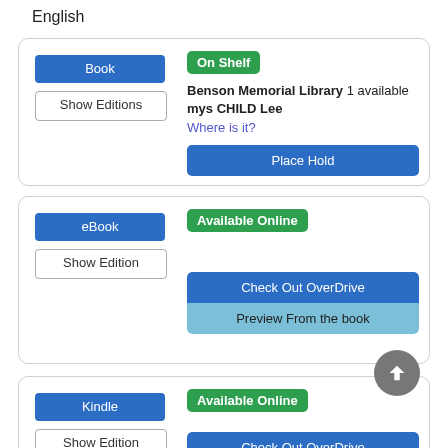English
Book
Show Editions
On Shelf
Benson Memorial Library  1 available
mys CHILD Lee
Where is it?
Place Hold
eBook
Show Edition
Available Online
Check Out OverDrive
Preview From the book
Kindle
Show Edition
Available Online
Check Out OverDrive
Preview From the book